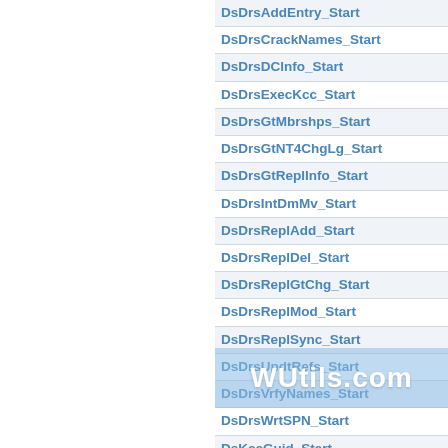DsDrsAddEntry_Start
DsDrsCrackNames_Start
DsDrsDCInfo_Start
DsDrsExecKcc_Start
DsDrsGtMbrshps_Start
DsDrsGtNT4ChgLg_Start
DsDrsGtReplInfo_Start
DsDrsIntDmMv_Start
DsDrsReplAdd_Start
DsDrsReplDel_Start
DsDrsReplGtChg_Start
DsDrsReplMod_Start
DsDrsReplSync_Start
DsDrsUpdtRefs_Start
DsDrsVrfyNames_Start
DsDrsWrtSPN_Start
DsKccGuid_Start
DsKccTask_Start
DsKccTask_Start
EnumerateTestAdDomEv_Start